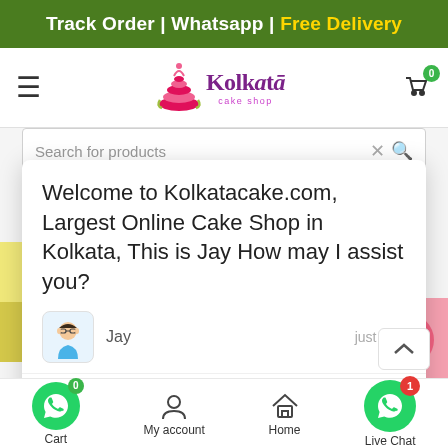Track Order | Whatsapp | Free Delivery
[Figure (logo): Kolkata Cake Shop logo with pink layered cake icon and stylized text]
Search for products
Welcome to Kolkatacake.com, Largest Online Cake Shop in Kolkata, This is Jay How may I assist you?
Jay   just now
Pineapple Juicy Cake 1 ka
Pink Flower Heart Cake 1Ka
Type here and press enter..
Cart   My account   Home   Live Chat